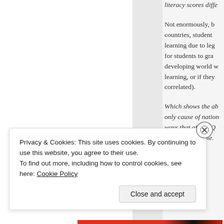literacy scores diffe...
Not enormously, b... countries, student... learning due to leg... for students to gra... developing world w... learning, or if they... correlated).
Which shows the ab... only cause of nation... ways that affect IQ... being an example.
Privacy & Cookies: This site uses cookies. By continuing to use this website, you agree to their use.
To find out more, including how to control cookies, see here: Cookie Policy
Close and accept